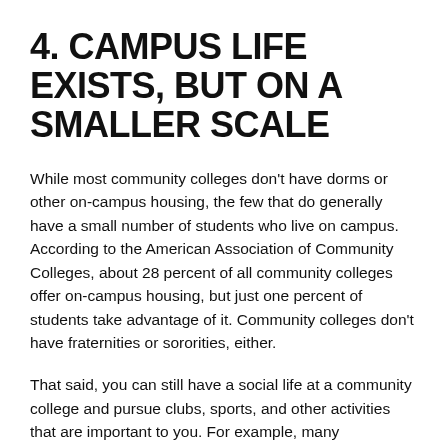4. CAMPUS LIFE EXISTS, BUT ON A SMALLER SCALE
While most community colleges don't have dorms or other on-campus housing, the few that do generally have a small number of students who live on campus. According to the American Association of Community Colleges, about 28 percent of all community colleges offer on-campus housing, but just one percent of students take advantage of it. Community colleges don't have fraternities or sororities, either.
That said, you can still have a social life at a community college and pursue clubs, sports, and other activities that are important to you. For example, many community colleges have academic honors societies, community service clubs, professional development clubs, and model UN teams. Club sports are also available at some community colleges, and if you enjoy more competitive play, almost half of the community colleges in the U.S. have intercollegiate sports...